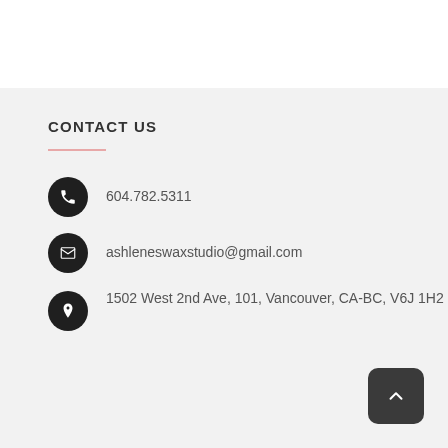CONTACT US
604.782.5311
ashleneswaxstudio@gmail.com
1502 West 2nd Ave, 101, Vancouver, CA-BC, V6J 1H2